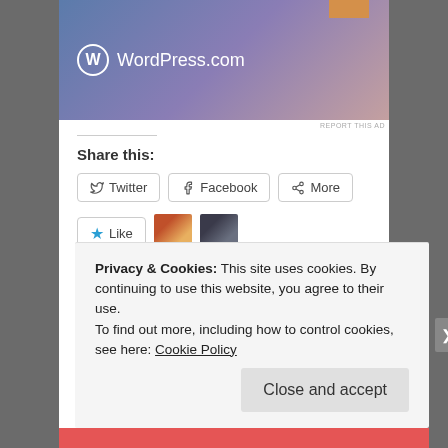[Figure (screenshot): WordPress.com advertisement banner with blue-purple-pink gradient background, WordPress logo (circle W icon) and text 'WordPress.com', orange box in top right corner]
REPORT THIS AD
Share this:
Twitter  Facebook  More
Like  [2 blogger avatars]
2 bloggers like this.
December 9, 2014 in Education. Tags: business, Dublin, MIT Sloan, Speaking, travel, Web Summit
Privacy & Cookies: This site uses cookies. By continuing to use this website, you agree to their use.
To find out more, including how to control cookies, see here: Cookie Policy
Close and accept